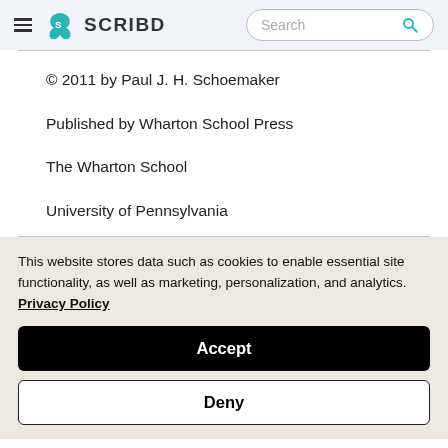SCRIBD — Search
© 2011 by Paul J. H. Schoemaker
Published by Wharton School Press
The Wharton School
University of Pennsylvania
This website stores data such as cookies to enable essential site functionality, as well as marketing, personalization, and analytics. Privacy Policy
Accept
Deny